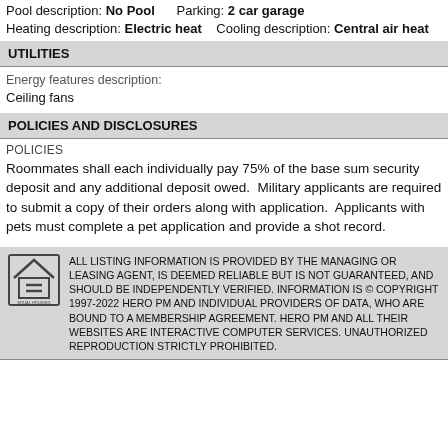Pool description: No Pool   Parking: 2 car garage
Heating description: Electric heat   Cooling description: Central air heat
UTILITIES
Energy features description:
Ceiling fans
POLICIES AND DISCLOSURES
POLICIES
Roommates shall each individually pay 75% of the base sum security deposit and any additional deposit owed.  Military applicants are required to submit a copy of their orders along with application.  Applicants with pets must complete a pet application and provide a shot record.
ALL LISTING INFORMATION IS PROVIDED BY THE MANAGING OR LEASING AGENT, IS DEEMED RELIABLE BUT IS NOT GUARANTEED, AND SHOULD BE INDEPENDENTLY VERIFIED. INFORMATION IS © COPYRIGHT 1997-2022 HERO PM AND INDIVIDUAL PROVIDERS OF DATA, WHO ARE BOUND TO A MEMBERSHIP AGREEMENT. HERO PM AND ALL THEIR WEBSITES ARE INTERACTIVE COMPUTER SERVICES. UNAUTHORIZED REPRODUCTION STRICTLY PROHIBITED.